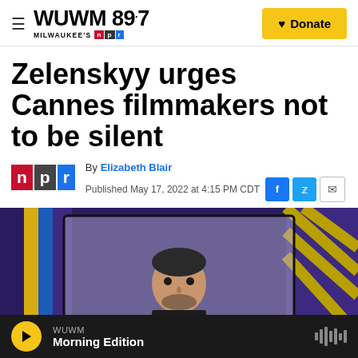WUWM 89.7 Milwaukee's NPR | Donate
Zelenskyy urges Cannes filmmakers not to be silent
By Elizabeth Blair
Published May 17, 2022 at 4:15 PM CDT
[Figure (photo): Screenshot of Zelenskyy speaking via video at the Cannes film festival, shown on a screen with purple flags visible in the background]
WUWM Morning Edition